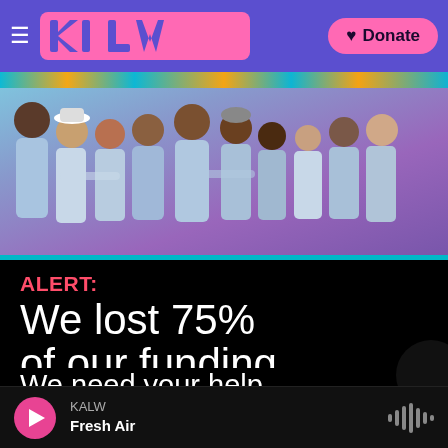KALW — Donate
[Figure (photo): Group photo of approximately 10 people wearing light blue shirts/uniforms, posed together against a purple/blue background with an orange banner at the top]
ALERT:
We lost 75% of our funding.
We need your help.
DONATE NOW!
KALW — Fresh Air